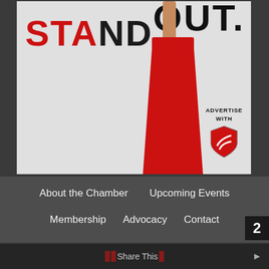[Figure (illustration): Advertisement banner showing the word 'STAND' in large red bold letters, a figure wearing a red dress, and a red shield logo with text 'ADVERTISE WITH' in the upper right portion. The top of the image shows 'OUT.' in large black bold letters.]
About the Chamber
Upcoming Events
Membership
Advocacy
Contact
Share This